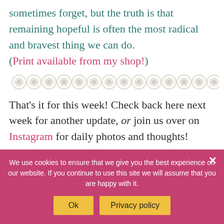sometimes forget, but the truth is that remaining hopeful is often the most radical and bravest thing we can do. (Print available from my shop!)
[Figure (illustration): A row of small decorative circles/dots used as a divider]
That’s it for this week! Check back here next week for another update, or join us over on Instagram for daily photos and thoughts!
XO
We use cookies to ensure that we give you the best experience on our website. If you continue to use this site we will assume that you are happy with it.